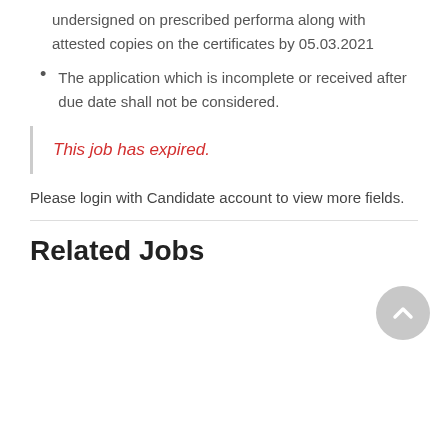undersigned on prescribed performa along with attested copies on the certificates by 05.03.2021
The application which is incomplete or received after due date shall not be considered.
This job has expired.
Please login with Candidate account to view more fields.
Related Jobs